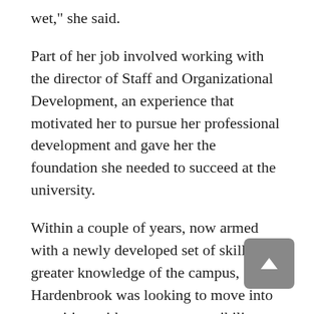wet," she said.
Part of her job involved working with the director of Staff and Organizational Development, an experience that motivated her to pursue her professional development and gave her the foundation she needed to succeed at the university.
Within a couple of years, now armed with a newly developed set of skills and greater knowledge of the campus, Hardenbrook was looking to move into a position with greater responsibility.
She found that challenge in the Graduate College's fellowship office, along with a promotion to office support specialist.
"It was unique and hectic," she said. "Every day you learned something new. I got a crash course in all things